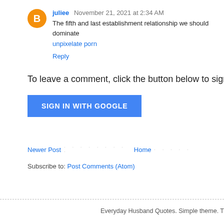[Figure (illustration): Orange circular Blogger avatar icon with white letter B in center]
juliee November 21, 2021 at 2:34 AM
The fifth and last establishment relationship we should dominate
unpixelate porn
Reply
To leave a comment, click the button below to sign in wi
SIGN IN WITH GOOGLE
Newer Post · · · · · · · · · Home · · · · ·
Subscribe to: Post Comments (Atom)
Everyday Husband Quotes. Simple theme. T